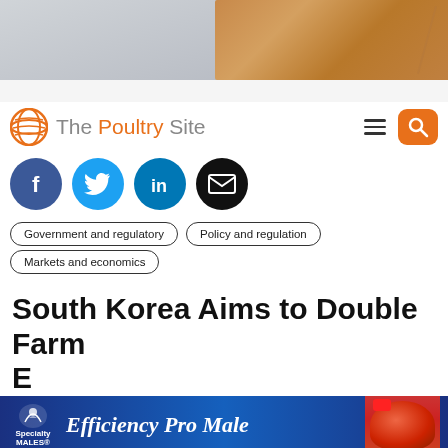[Figure (photo): Banner image showing grilled/roasted chicken on a dark background with herbs]
[Figure (logo): The Poultry Site logo with orange globe icon and navigation hamburger menu and search button]
[Figure (infographic): Four social media share buttons: Facebook (blue), Twitter (light blue), LinkedIn (blue), Email (black)]
Government and regulatory
Policy and regulation
Markets and economics
South Korea Aims to Double Farm E[xports]
[Figure (photo): Advertisement banner for Specialty Males - Efficiency Pro Male with rooster image on blue background]
SOUTH KOREA - South Korea will work to double its outbound shipments of farm and fisheries products to